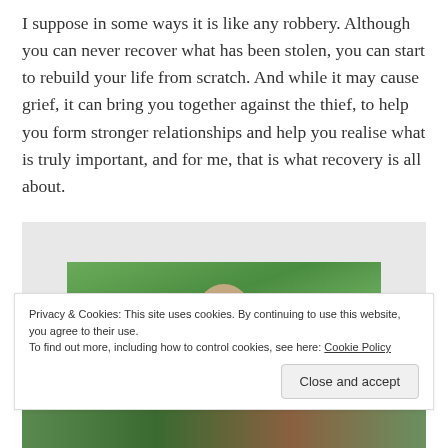I suppose in some ways it is like any robbery. Although you can never recover what has been stolen, you can start to rebuild your life from scratch. And while it may cause grief, it can bring you together against the thief, to help you form stronger relationships and help you realise what is truly important, and for me, that is what recovery is all about.
[Figure (photo): A person outdoors surrounded by green foliage and trees, visible from approximately the shoulders up.]
Privacy & Cookies: This site uses cookies. By continuing to use this website, you agree to their use.
To find out more, including how to control cookies, see here: Cookie Policy
Close and accept